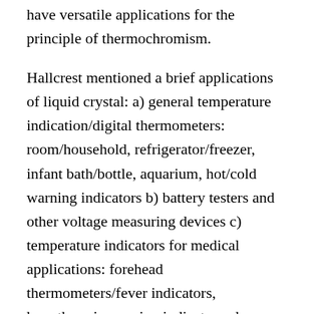have versatile applications for the principle of thermochromism.
Hallcrest mentioned a brief applications of liquid crystal: a) general temperature indication/digital thermometers: room/household, refrigerator/freezer, infant bath/bottle, aquarium, hot/cold warning indicators b) battery testers and other voltage measuring devices c) temperature indicators for medical applications: forehead thermometers/fever indicators, hypothermia warning indicators, drug testing; temperature indicating labels for urine specimen authentication d) medical thermography: sub-